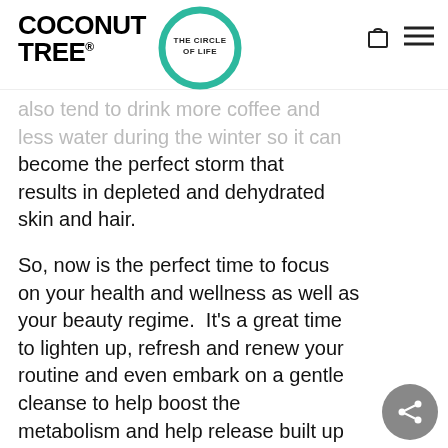COCONUT TREE® THE CIRCLE OF LIFE
also tend to drink more coffee and less water during the winter so it can become the perfect storm that results in depleted and dehydrated skin and hair.
So, now is the perfect time to focus on your health and wellness as well as your beauty regime.  It's a great time to lighten up, refresh and renew your routine and even embark on a gentle cleanse to help boost the metabolism and help release built up toxins.
Here's our simple spring rejuvenation to do list to get you set for healthy